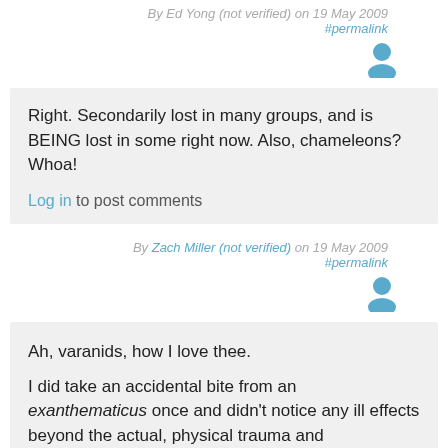By Ed Yong (not verified) on 19 May 2009
#permalink
[Figure (illustration): User avatar icon (blue silhouette of a person)]
Right. Secondarily lost in many groups, and is BEING lost in some right now. Also, chameleons? Whoa!
Log in to post comments
By Zach Miller (not verified) on 19 May 2009
#permalink
[Figure (illustration): User avatar icon (blue silhouette of a person)]
Ah, varanids, how I love thee.
I did take an accidental bite from an exanthematicus once and didn't notice any ill effects beyond the actual, physical trauma and